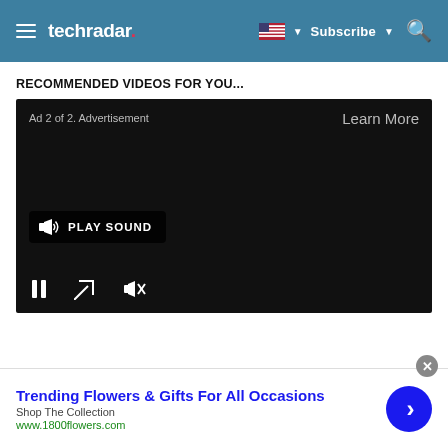techradar | Subscribe
RECOMMENDED VIDEOS FOR YOU...
[Figure (screenshot): Video player showing an advertisement. Displays 'Ad 2 of 2. Advertisement' in top-left, 'Learn More' in top-right, a 'PLAY SOUND' button with speaker icon in the middle-left, and playback controls (pause, fullscreen, mute) at the bottom.]
[Figure (screenshot): Ad banner for 1800flowers.com showing 'Trending Flowers & Gifts For All Occasions', 'Shop The Collection', 'www.1800flowers.com', with a blue circular arrow button on the right. A close (x) button appears at the top-right of the banner.]